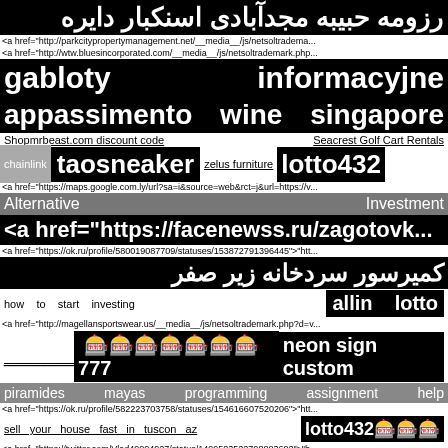رزومه حبیبه مجدآبادی اسنکبار دایره
<a href="http://parkcitypropertymanagement.net/__media__/js/netsoltradema...
<a href="http://wtw.bluesincorporated.com/__media__/js/netsoltrademark.php...
gabloty    informacyjne
appassimento   wine   singapore
Shopmrbeast.com discount code   Seacrest Golf Cart Rentals
chainlink  taosneaker  zelus furniture  lotto432
<a href="https://maps.google.com.ly/url?sa=i&source=web&rct=j&url=https://v...
Alternative                          Investment
<a href="https://facenewss.ru/zagotovk...
<a href="https://ok.ru/profile/580019087709/statuses/153872791396445">"htt...
کمیرسور  سردخانه  زیر  صفر
how   to   start   investing  allin  lotto
<a href="http://magellansportswear.us/__media__/js/netsoltrademark.php?d=v...
_______ 🎰🎰🎰🎰🎰🎰🎰777  neon sign custom
piramides  mayas   programming  assignment  help
<a href="https://ok.ru/profile/582223703758/statuses/154616607520206">"htt...
sell your house fast in tuscon az    lotto432🎰🎰🎰
<a href="https://twitter.com/Vlad49004927/status/1499583522708803602">"h...
Crypto  news   wealth  spells  gudang  lagu
<a href="https://ok.ru/profile/580808556181/statuses/154572165442965">"htt...